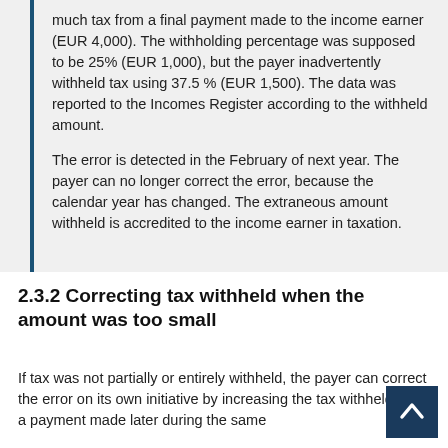much tax from a final payment made to the income earner (EUR 4,000). The withholding percentage was supposed to be 25% (EUR 1,000), but the payer inadvertently withheld tax using 37.5 % (EUR 1,500). The data was reported to the Incomes Register according to the withheld amount.

The error is detected in the February of next year. The payer can no longer correct the error, because the calendar year has changed. The extraneous amount withheld is accredited to the income earner in taxation.
2.3.2 Correcting tax withheld when the amount was too small
If tax was not partially or entirely withheld, the payer can correct the error on its own initiative by increasing the tax withheld from a payment made later during the same